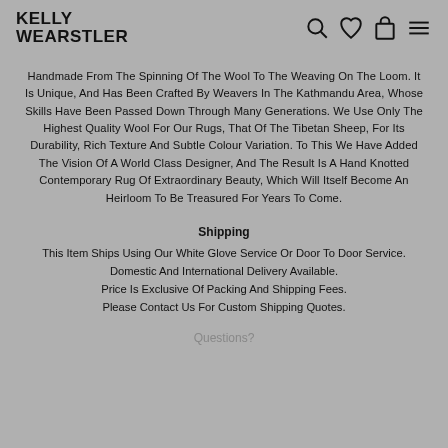KELLY WEARSTLER
Handmade From The Spinning Of The Wool To The Weaving On The Loom. It Is Unique, And Has Been Crafted By Weavers In The Kathmandu Area, Whose Skills Have Been Passed Down Through Many Generations. We Use Only The Highest Quality Wool For Our Rugs, That Of The Tibetan Sheep, For Its Durability, Rich Texture And Subtle Colour Variation. To This We Have Added The Vision Of A World Class Designer, And The Result Is A Hand Knotted Contemporary Rug Of Extraordinary Beauty, Which Will Itself Become An Heirloom To Be Treasured For Years To Come.
Shipping
This Item Ships Using Our White Glove Service Or Door To Door Service.
Domestic And International Delivery Available.
Price Is Exclusive Of Packing And Shipping Fees.
Please Contact Us For Custom Shipping Quotes.
Questions?